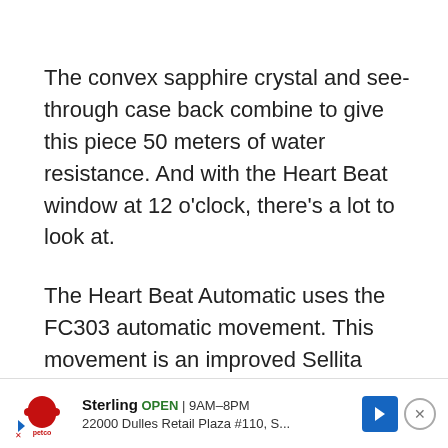The convex sapphire crystal and see-through case back combine to give this piece 50 meters of water resistance. And with the Heart Beat window at 12 o'clock, there's a lot to look at.
The Heart Beat Automatic uses the FC303 automatic movement. This movement is an improved Sellita SW200-1, so it's reliable and affordable to service.
Frederique Constant Healey Chronograph Automatic
If you... ters,